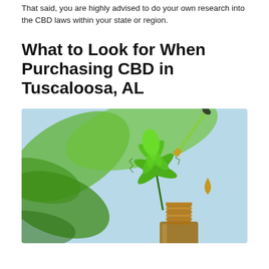That said, you are highly advised to do your own research into the CBD laws within your state or region.
What to Look for When Purchasing CBD in Tuscaloosa, AL
[Figure (photo): Close-up photo of a dropper dispensing golden CBD oil into an amber glass bottle, with green cannabis leaves in the background against a light blue sky.]